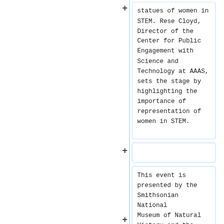statues of women in STEM. Rese Cloyd, Director of the Center for Public Engagement with Science and Technology at AAAS, sets the stage by highlighting the importance of representation of women in STEM.
This event is presented by the Smithsonian National Museum of Natural History and the Smithsonian American Women's History